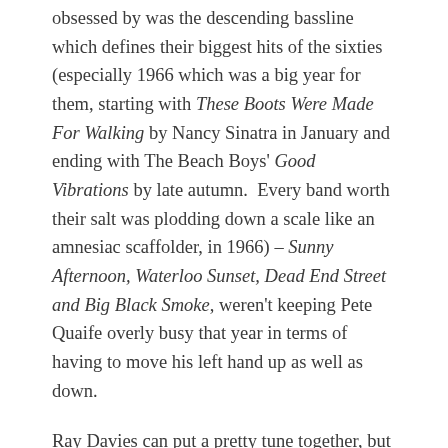obsessed by was the descending bassline which defines their biggest hits of the sixties (especially 1966 which was a big year for them, starting with These Boots Were Made For Walking by Nancy Sinatra in January and ending with The Beach Boys' Good Vibrations by late autumn.  Every band worth their salt was plodding down a scale like an amnesiac scaffolder, in 1966) – Sunny Afternoon, Waterloo Sunset, Dead End Street and Big Black Smoke, weren't keeping Pete Quaife overly busy that year in terms of having to move his left hand up as well as down.
Ray Davies can put a pretty tune together, but it's his lyrics for which he's acclaimed and rightly so.  A Well Respected Man starts off with, "'Cause he gets up in the morning and he goes to work at nine,"  Starting off with the...